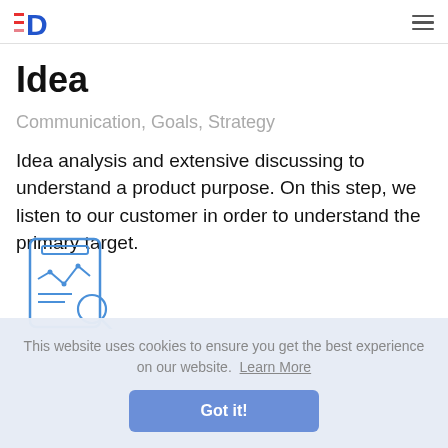ED logo and hamburger menu
Idea
Communication, Goals, Strategy
Idea analysis and extensive discussing to understand a product purpose. On this step, we listen to our customer in order to understand the primary target.
This website uses cookies to ensure you get the best experience on our website. Learn More
Got it!